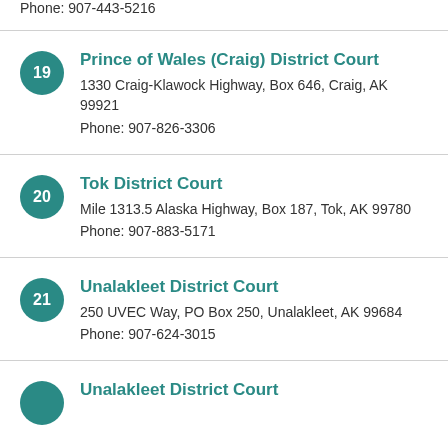Phone: 907-443-5216
19 Prince of Wales (Craig) District Court
1330 Craig-Klawock Highway, Box 646, Craig, AK 99921
Phone: 907-826-3306
20 Tok District Court
Mile 1313.5 Alaska Highway, Box 187, Tok, AK 99780
Phone: 907-883-5171
21 Unalakleet District Court
250 UVEC Way, PO Box 250, Unalakleet, AK 99684
Phone: 907-624-3015
Unalakleet District Court (partial)